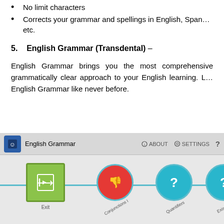No limit characters
Corrects your grammar and spellings in English, Spanish, etc.
5.    English Grammar (Transdental) –
English Grammar brings you the most comprehensive grammatically clear approach to your English learning. Learn English Grammar like never before.
[Figure (screenshot): Screenshot of the English Grammar (Transdental) app showing a navigation bar with 'English Grammar' title, ABOUT and SETTINGS controls, and a content area with a horizontal timeline featuring nodes: Exit (green square icon), Conjunctions I (red circle with thumbs down), Quantifiers (blue circle with question mark), and Existence (blue circle with question mark, partially visible).]